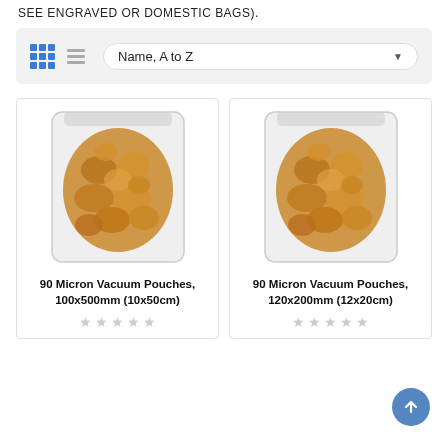SEE ENGRAVED OR DOMESTIC BAGS).
[Figure (screenshot): Product grid toolbar with grid/list view icons and 'Name, A to Z' sort dropdown]
[Figure (photo): Product card: 90 Micron Vacuum Pouches, 100x500mm (10x50cm) with walnut image and 5 empty stars]
[Figure (photo): Product card: 90 Micron Vacuum Pouches, 120x200mm (12x20cm) with walnut image and 5 empty stars]